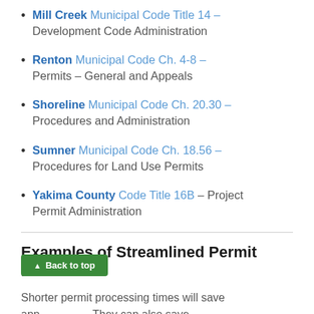Mill Creek Municipal Code Title 14 - Development Code Administration
Renton Municipal Code Ch. 4-8 - Permits - General and Appeals
Shoreline Municipal Code Ch. 20.30 - Procedures and Administration
Sumner Municipal Code Ch. 18.56 - Procedures for Land Use Permits
Yakima County Code Title 16B - Project Permit Administration
Examples of Streamlined Permit Procedures
Shorter permit processing times will save app... They can also save sig... when there are costs